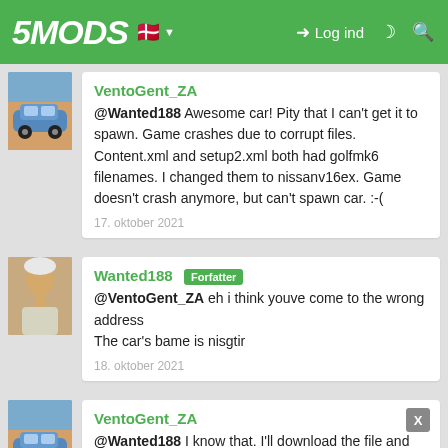5MODS — Log ind
VentoGent_ZA
@Wanted188 Awesome car! Pity that I can't get it to spawn. Game crashes due to corrupt files. Content.xml and setup2.xml both had golfmk6 filenames. I changed them to nissanv16ex. Game doesn't crash anymore, but can't spawn car. :-(
17. oktober 2021
Wanted188 Forfatter
@VentoGent_ZA eh i think youve come to the wrong address
The car's bame is nisgtir
18. oktober 2021
VentoGent_ZA
@Wanted188 I know that. I'll download the file and check it again.Is there any way for me to send you screenshots?